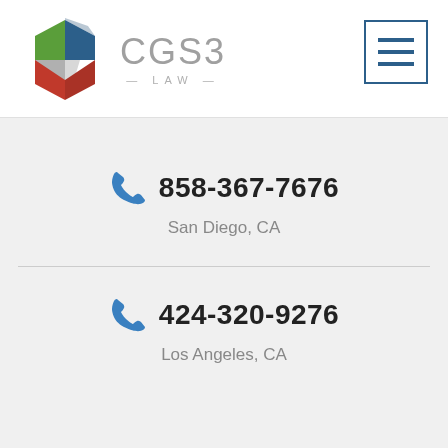[Figure (logo): CGS3 Law firm logo with colorful hexagonal icon (blue, green, red, gray segments) and CGS3 LAW text in gray]
[Figure (other): Hamburger menu button - three horizontal blue lines inside a blue rectangle border]
858-367-7676
San Diego, CA
424-320-9276
Los Angeles, CA